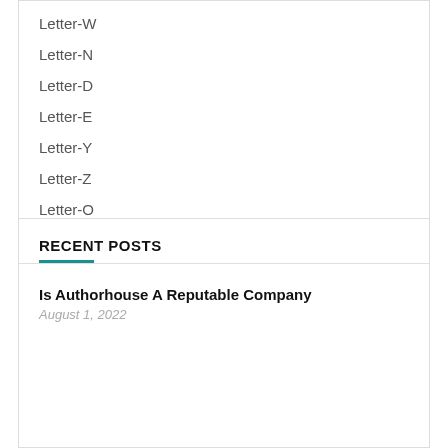Letter-W
Letter-N
Letter-D
Letter-E
Letter-Y
Letter-Z
Letter-O
RECENT POSTS
Is Authorhouse A Reputable Company
August 1, 2022